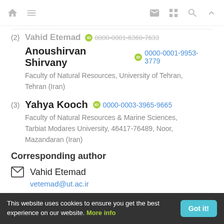Navigation bar with home, menu, mail, grid, search, and up icons
(2) Vahid Etemad 0000-0001-6360-7633
Anoushirvan Shirvany 0000-0001-9953-3779
Faculty of Natural Resources, University of Tehran, Tehran (Iran)
(3) Yahya Kooch 0000-0003-3965-9665
Faculty of Natural Resources & Marine Sciences, Tarbiat Modares University, 46417-76489, Noor, Mazandaran (Iran)
Corresponding author
Vahid Etemad
vetemad@ut.ac.ir
This website uses cookies to ensure you get the best experience on our website. More info  Got it!